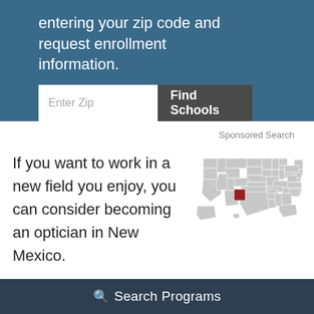entering your zip code and request enrollment information.
[Figure (screenshot): ZIP code search widget with 'Enter Zip' input field and 'Find Schools' dark button on blue background]
Sponsored Search
If you want to work in a new field you enjoy, you can consider becoming an optician in New Mexico.
[Figure (map): Map of the United States with New Mexico highlighted in red/dark red]
Have a look at the licensing and training requirements for this state.
Search Programs